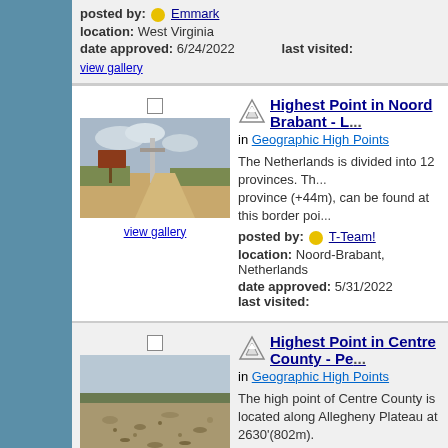posted by: Emmark
location: West Virginia
date approved: 6/24/2022    last visited:
[Figure (photo): Photo of sandy path through heath/moorland with signboard and tall structure, Netherlands high point]
view gallery
Highest Point in Noord Brabant - L...
in Geographic High Points
The Netherlands is divided into 12 provinces. Th... province (+44m), can be found at this border poi...
posted by: T-Team!
location: Noord-Brabant, Netherlands
date approved: 5/31/2022    last visited:
[Figure (photo): Photo of bare rocky/gravelly ground at Centre County high point, Pennsylvania]
view gallery
Highest Point in Centre County - Pe...
in Geographic High Points
The high point of Centre County is located along Allegheny Plateau at 2630'(802m).
posted by: ted28285
location: Pennsylvania
date approved: 3/24/2022    last visited:
The Highest Point in ... M...